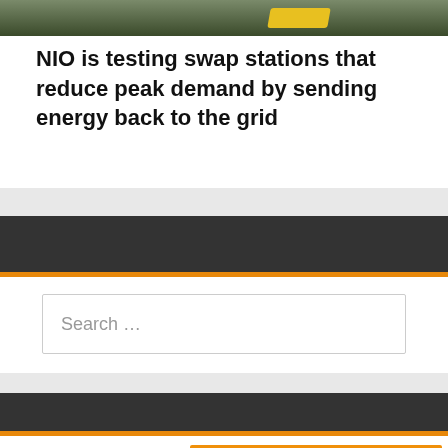[Figure (photo): Partial view of a NIO battery swap station, showing green foliage and yellow equipment in background]
NIO is testing swap stations that reduce peak demand by sending energy back to the grid
Search
Search …
Newsletter
Enter Your Email for FREE